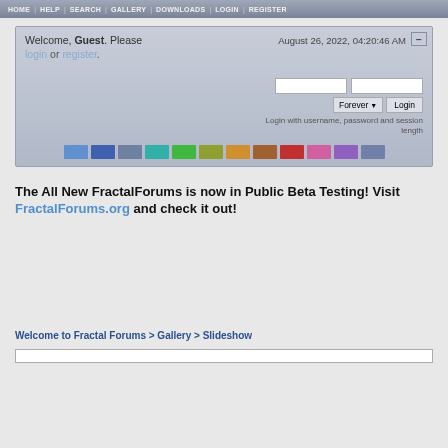HOME | HELP | SEARCH | GALLERY | DOWNLOADS | LOGIN | REGISTER
Welcome, Guest. Please login or register.
August 26, 2022, 04:20:46 AM
Login with username, password and session length
The All New FractalForums is now in Public Beta Testing! Visit FractalForums.org and check it out!
Welcome to Fractal Forums > Gallery > Slideshow